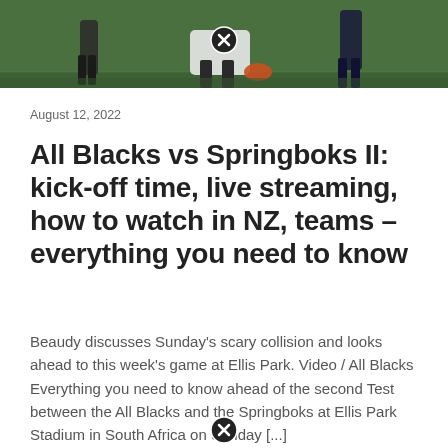[Figure (photo): Rugby players in action on a green field, partial view showing players' legs and lower bodies mid-scrum or tackle]
August 12, 2022
All Blacks vs Springboks II: kick-off time, live streaming, how to watch in NZ, teams – everything you need to know
Beaudy discusses Sunday's scary collision and looks ahead to this week's game at Ellis Park. Video / All Blacks Everything you need to know ahead of the second Test between the All Blacks and the Springboks at Ellis Park Stadium in South Africa on Sunday [...]